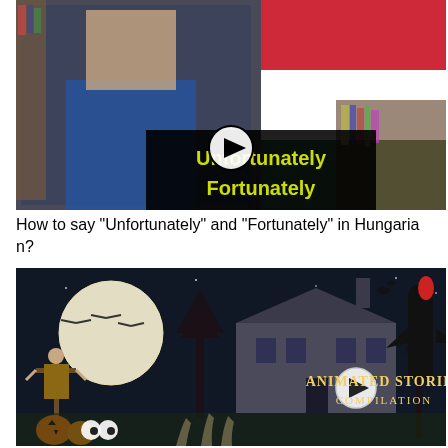[Figure (screenshot): YouTube video thumbnail showing a man in a blue patterned shirt in front of bookshelves on the left, and the Hungarian flag (red, white, green) on the right. Center overlay shows a play button and yellow text on black background reading 'Unfortunately Fortunately'.]
How to say "Unfortunately" and "Fortunately" in Hungarian?
[Figure (screenshot): YouTube video thumbnail showing a Halloween-themed animated scene with a scarecrow, glowing moon with birds, a haunted house, a dark bird creature with red head, pumpkins, and hands reaching up. Text reads 'Animated Stories Compilation' with a play button.]